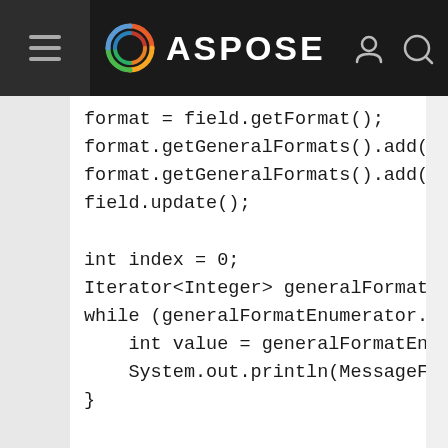ASPOSE
format = field.getFormat();
format.getGeneralFormats().add(General
format.getGeneralFormats().add(General
field.update();

int index = 0;
Iterator<Integer> generalFormatEnumera
while (generalFormatEnumerator.hasNext
    int value = generalFormatEnumerato
    System.out.println(MessageFormat.f
}

Assert.assertEquals("= 25 + 33 \\* rom
Assert.assertEquals("LVIII", field.get
Assert.assertEquals(2, format.getGener
Assert.assertEquals(GeneralFormat.LOWE

// We can remove our formats to revert
format.getGeneralFormats().remove(Gene
format.getGeneralFormats().removeAt(0